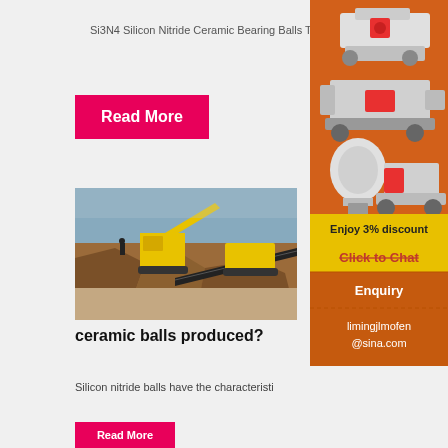Si3N4 Silicon Nitride Ceramic Bearing Balls The …
Read More
[Figure (photo): Mining/quarrying machinery with yellow equipment and conveyor belts on a rocky landscape]
ceramic balls produced?
Silicon nitride balls have the characteristi
[Figure (photo): Sidebar advertisement showing industrial crushing/milling machines on orange background with 'Enjoy 3% discount' and 'Click to Chat' buttons, plus Enquiry and email contact limingjlmofen@sina.com]